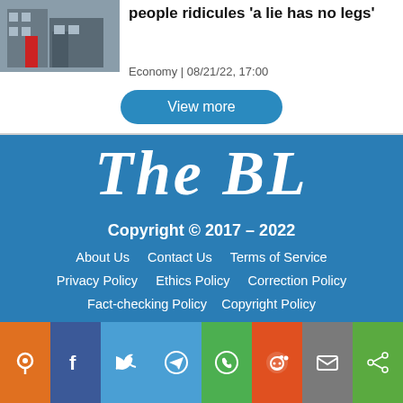people ridicules 'a lie has no legs'
Economy | 08/21/22, 17:00
View more
The BL
Copyright © 2017 – 2022
About Us   Contact Us   Terms of Service
Privacy Policy   Ethics Policy   Correction Policy
Fact-checking Policy   Copyright Policy